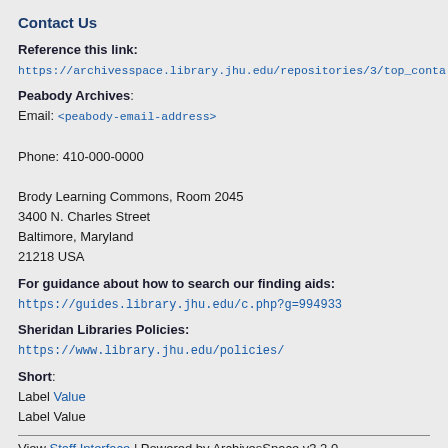Contact Us
Reference this link:
https://archivesspace.library.jhu.edu/repositories/3/top_conta
Peabody Archives:
Email: <peabody-email-address>
Phone: 410-000-0000
Brody Learning Commons, Room 2045
3400 N. Charles Street
Baltimore, Maryland
21218 USA
For guidance about how to search our finding aids:
https://guides.library.jhu.edu/c.php?g=994933
Sheridan Libraries Policies:
https://www.library.jhu.edu/policies/
Short:
Label Value
Label Value
View Staff Interface | Powered by ArchivesSpace v3.2.0